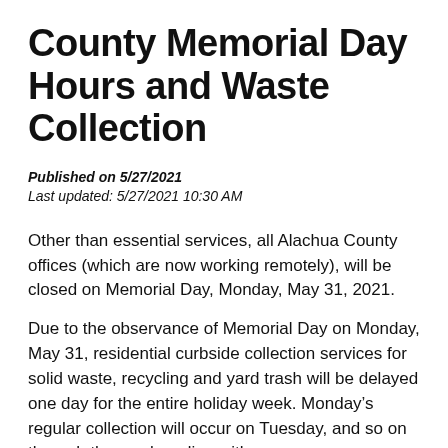County Memorial Day Hours and Waste Collection
Published on 5/27/2021
Last updated: 5/27/2021 10:30 AM
Other than essential services, all Alachua County offices (which are now working remotely), will be closed on Memorial Day, Monday, May 31, 2021.
Due to the observance of Memorial Day on Monday, May 31, residential curbside collection services for solid waste, recycling and yard trash will be delayed one day for the entire holiday week. Monday’s regular collection will occur on Tuesday, and so on through the week ending with